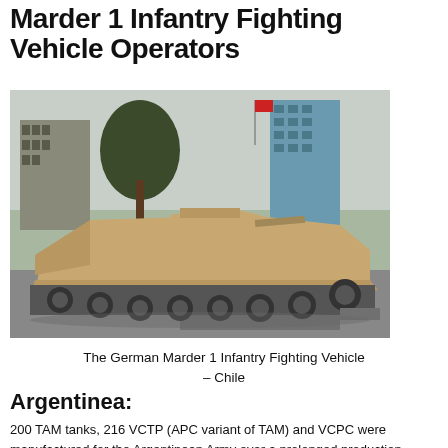Marder 1 Infantry Fighting Vehicle Operators
[Figure (photo): A German Marder 1 Infantry Fighting Vehicle (IFV) in tan/desert camouflage, displayed outdoors with buildings and trees in the background. The vehicle is shown from the front-right side, revealing its tracked chassis, sloped armor, and gun turret.]
The German Marder 1 Infantry Fighting Vehicle – Chile
Argentinea:
200 TAM tanks, 216 VCTP (APC variant of TAM) and VCPC were manufactured for the Argentinean Army over a prolonged production period of 1979 – 1983 and 1994 –